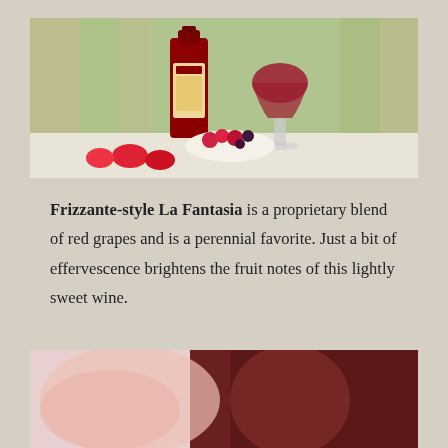[Figure (photo): A wine bottle labeled 'La Fantasia' next to a glass of red wine, with a bowl of strawberries and cherries on a white tablecloth, outdoor setting with blurred background.]
Frizzante-style La Fantasia is a proprietary blend of red grapes and is a perennial favorite. Just a bit of effervescence brightens the fruit notes of this lightly sweet wine.
[Figure (photo): Close-up photo of what appears to be pink/rose colored liquid or food being poured or mixed.]